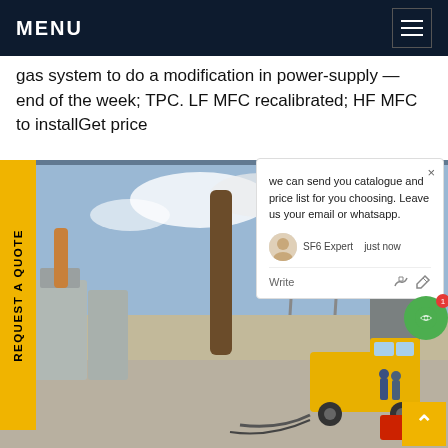MENU
gas system to do a modification in power-supply — end of the week; TPC. LF MFC recalibrated; HF MFC to installGet price
[Figure (photo): Industrial electrical substation with high-voltage transmission towers and equipment; a yellow utility truck is parked among large grey electrical enclosures; workers visible in background]
REQUEST A QUOTE
we can send you catalogue and price list for you choosing. Leave us your email or whatsapp.
SF6 Expert    just now
Write